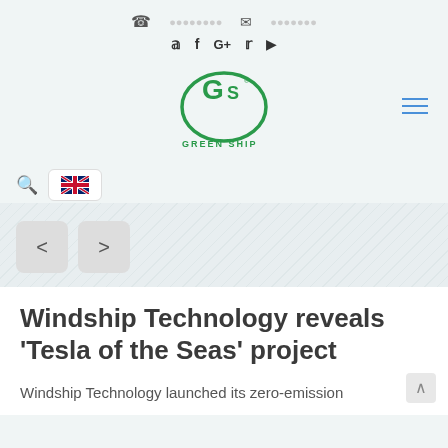Phone | Email contact icons; Skype, Facebook, G+, Twitter, Play social icons
[Figure (logo): Green Ship logo — circular green GS emblem with 'GREEN SHIP' text below in green]
Search icon | UK flag language selector button
[Figure (other): Slider navigation buttons: left arrow < and right arrow >]
Windship Technology reveals 'Tesla of the Seas' project
Windship Technology launched its zero-emission